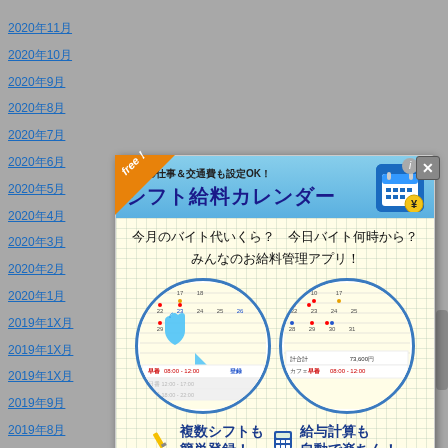2020年11月
2020年10月
2020年9月
2020年8月
2020年7月
2020年6月
2020年5月
2020年4月
2020年3月
2020年2月
2020年1月
2019年1X月
2019年1X月
2019年1X月
2019年9月
2019年8月
2019年7月
[Figure (screenshot): シフト給料カレンダー app advertisement popup showing shift salary calendar app in Japanese. Shows 'free!' badge, app name 'シフト給料カレンダー' (Shift Salary Calendar), handwritten Japanese text '今月のバイト代いくら？今日バイト何時から？みんなのお給料管理アプリ！', two circular screenshots of calendar and salary features, and bottom labels '複数シフトも簡単登録！' and '給与計算も自動で楽ちん！']